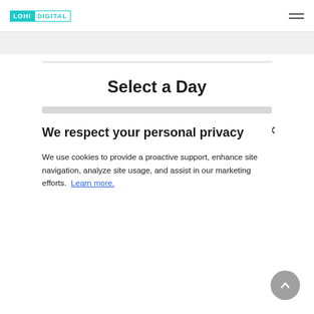LOHI DIGITAL
Select a Day
We respect your personal privacy
We use cookies to provide a proactive support, enhance site navigation, analyze site usage, and assist in our marketing efforts. Learn more.